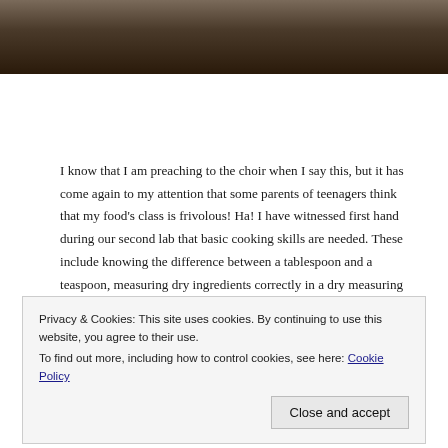[Figure (photo): Top portion of a food/cooking photo, showing a dark-toned dish or skillet from above, partially cropped at top of page]
I know that I am preaching to the choir when I say this, but it has come again to my attention that some parents of teenagers think that my food’s class is frivolous!  Ha!  I have witnessed first hand during our second lab that basic cooking skills are needed.  These include knowing the difference between a tablespoon and a teaspoon, measuring dry ingredients correctly in a dry measuring cup, and that a skillet must be preheated before pouring pancake batter  in the pan.  Nothing ceases to amaze me in the food’s lab after so many years of teaching.  What does amaze me that some parents  don’t think that being able to prepare nutritious meals at home is a necessary skill.  Well, I am not going there today!  But,  I was pleased to see this article in Cooking Light last month
Privacy & Cookies: This site uses cookies. By continuing to use this website, you agree to their use.
To find out more, including how to control cookies, see here: Cookie Policy
Close and accept